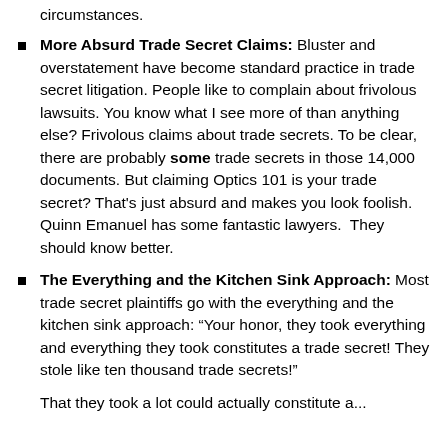circumstances.
More Absurd Trade Secret Claims: Bluster and overstatement have become standard practice in trade secret litigation. People like to complain about frivolous lawsuits. You know what I see more of than anything else? Frivolous claims about trade secrets. To be clear, there are probably some trade secrets in those 14,000 documents. But claiming Optics 101 is your trade secret? That's just absurd and makes you look foolish. Quinn Emanuel has some fantastic lawyers.  They should know better.
The Everything and the Kitchen Sink Approach: Most trade secret plaintiffs go with the everything and the kitchen sink approach: “Your honor, they took everything and everything they took constitutes a trade secret! They stole like ten thousand trade secrets!”
That they took a lot could actually constitute a...